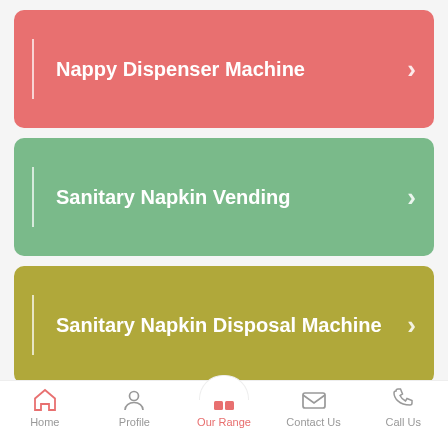Nappy Dispenser Machine
Sanitary Napkin Vending
Sanitary Napkin Disposal Machine
View All
Get Best Deals for Sanitary Napkin Disposal Machines
Home | Profile | Our Range | Contact Us | Call Us